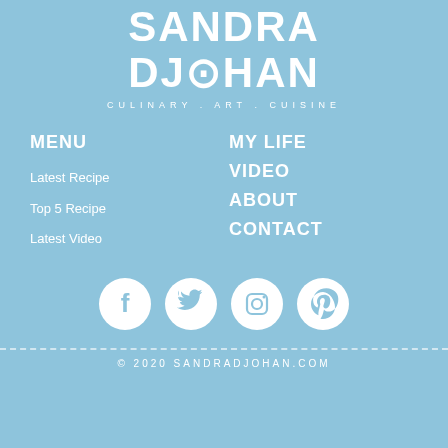SANDRA DJOHAN
CULINARY . ART . CUISINE
MENU
Latest Recipe
Top 5 Recipe
Latest Video
MY LIFE
VIDEO
ABOUT
CONTACT
[Figure (infographic): Social media icons: Facebook, Twitter, Instagram, Pinterest]
© 2020 SANDRADJOHAN.COM